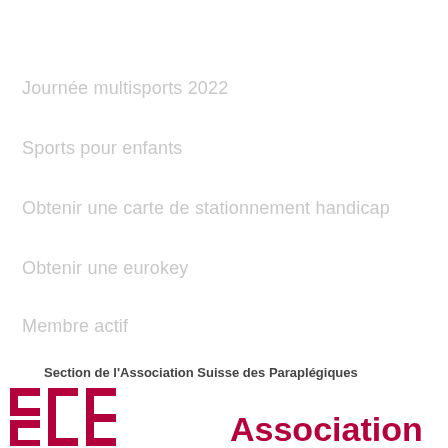Journée multisports 2022
Sports pour enfants
Obtenir une carte de stationnement handicap
Obtenir une eurokey
Membre actif
Section de l'Association Suisse des Paraplégiques
[Figure (logo): Logo of Association Suisse des Paraplégiques with stylized red bracket/cross symbol and bold red 'Association' text]